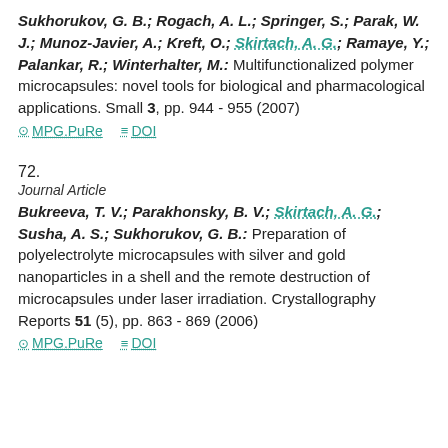Sukhorukov, G. B.; Rogach, A. L.; Springer, S.; Parak, W. J.; Munoz-Javier, A.; Kreft, O.; Skirtach, A. G.; Ramaye, Y.; Palankar, R.; Winterhalter, M.: Multifunctionalized polymer microcapsules: novel tools for biological and pharmacological applications. Small 3, pp. 944 - 955 (2007)
MPG.PuRe   DOI
72.
Journal Article
Bukreeva, T. V.; Parakhonsky, B. V.; Skirtach, A. G.; Susha, A. S.; Sukhorukov, G. B.: Preparation of polyelectrolyte microcapsules with silver and gold nanoparticles in a shell and the remote destruction of microcapsules under laser irradiation. Crystallography Reports 51 (5), pp. 863 - 869 (2006)
MPG.PuRe   DOI